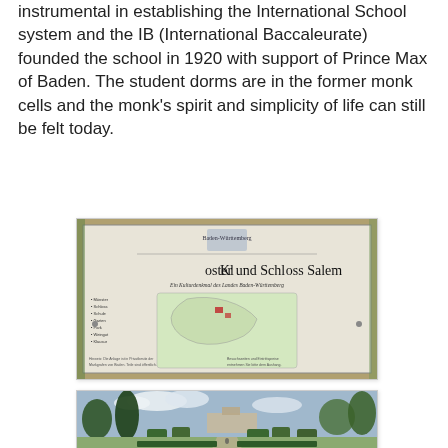instrumental in establishing the International School system and the IB (International Baccaleurate) founded the school in 1920 with support of Prince Max of Baden. The student dorms are in the former monk cells and the monk's spirit and simplicity of life can still be felt today.
[Figure (photo): A sign board for 'Kloster und Schloss Salem' (Kloster und Schloss Salem) showing a map of the estate. The sign is mounted on a dark frame with trees visible in the background.]
[Figure (photo): A garden view of Salem showing manicured hedges, topiary, pathways, trees, and the historic buildings of the school/monastery in the background under a partly cloudy sky.]